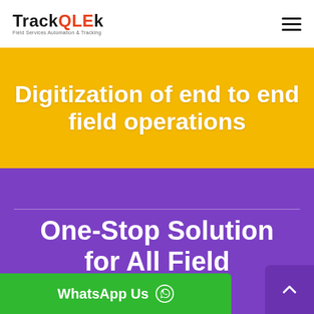TrackQLEk — Field Services Automation & Tracking
Digitization of end to end field operations
One-Stop Solution for All Field Operations Automation!
WhatsApp Us